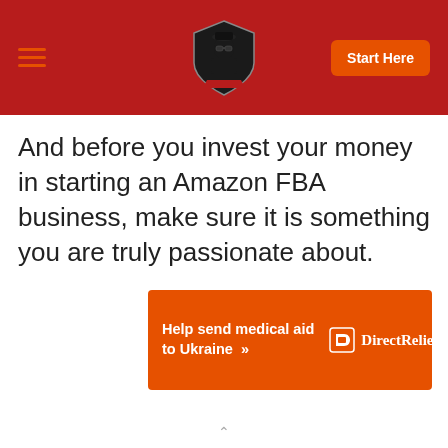Start Here
And before you invest your money in starting an Amazon FBA business, make sure it is something you are truly passionate about.
[Figure (infographic): Orange advertisement banner for Direct Relief: 'Help send medical aid to Ukraine >>' with Direct Relief logo on right side]